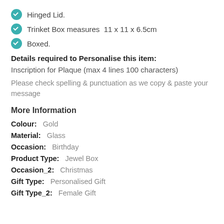Hinged Lid.
Trinket Box measures  11 x 11 x 6.5cm
Boxed.
Details required to Personalise this item:
Inscription for Plaque (max 4 lines 100 characters)
Please check spelling & punctuation as we copy & paste your message
More Information
Colour:   Gold
Material:   Glass
Occasion:   Birthday
Product Type:   Jewel Box
Occasion_2:   Christmas
Gift Type:   Personalised Gift
Gift Type_2:   Female Gift